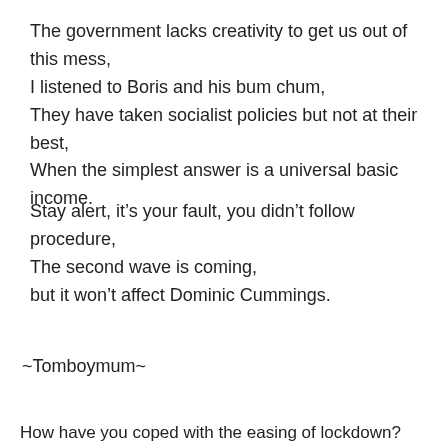The government lacks creativity to get us out of this mess,
I listened to Boris and his bum chum,
They have taken socialist policies but not at their best,
When the simplest answer is a universal basic income.
Stay alert, it’s your fault, you didn’t follow procedure,
The second wave is coming,
but it won’t affect Dominic Cummings.
~Tomboymum~
How have you coped with the easing of lockdown?